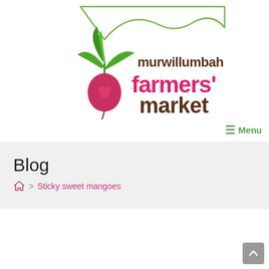[Figure (logo): Murwillumbah Farmers' Market logo with a beet/radish illustration and green leaves, with pink and brown text reading 'murwillumbah farmers' market' and a mountain outline in the background.]
≡ Menu
Blog
🏠 > Sticky sweet mangoes